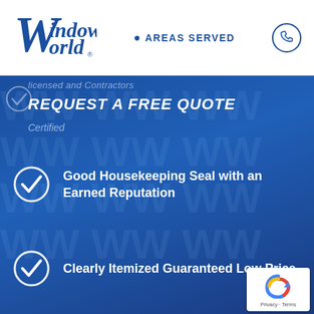Window World | AREAS SERVED
REQUEST A FREE QUOTE
Certified
Good Housekeeping Seal with an Earned Reputation
Clearly Itemized Guaranteed Low Price
Convenient Financing Options